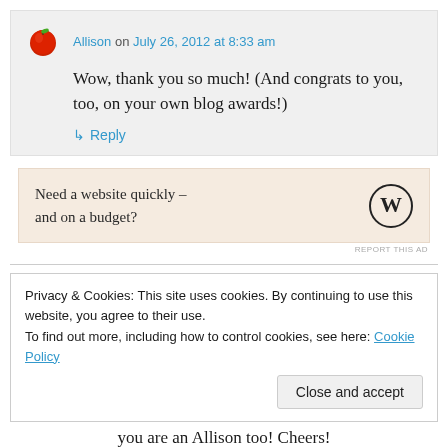Allison on July 26, 2012 at 8:33 am
Wow, thank you so much! (And congrats to you, too, on your own blog awards!)
↳ Reply
[Figure (infographic): WordPress ad banner: Need a website quickly – and on a budget? with WordPress logo]
REPORT THIS AD
Privacy & Cookies: This site uses cookies. By continuing to use this website, you agree to their use.
To find out more, including how to control cookies, see here: Cookie Policy
Close and accept
you are an Allison too! Cheers!